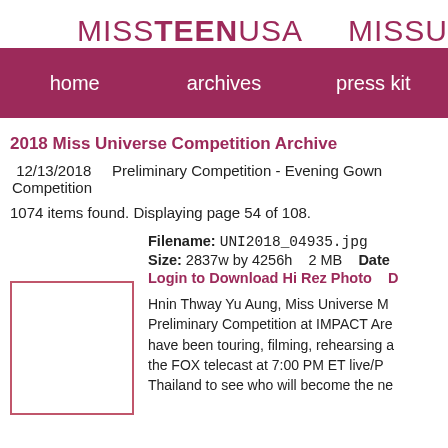MISSTEENUSA   MISSU
home   archives   press kit
2018 Miss Universe Competition Archive
12/13/2018    Preliminary Competition - Evening Gown Competition
1074 items found. Displaying page 54 of 108.
Filename: UNI2018_04935.jpg
Size: 2837w by 4256h    2 MB    Date
Login to Download Hi Rez Photo    [...]
Hnin Thway Yu Aung, Miss Universe M... Preliminary Competition at IMPACT Are... have been touring, filming, rehearsing a... the FOX telecast at 7:00 PM ET live/P... Thailand to see who will become the ne...